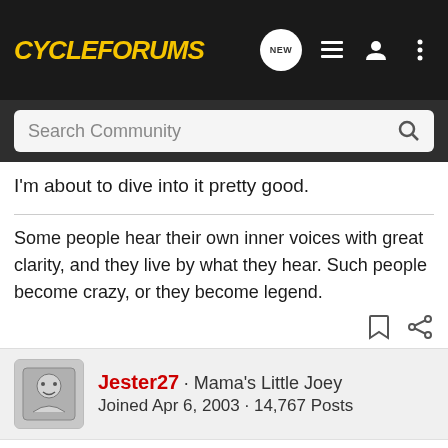CycleForums
Search Community
I'm about to dive into it pretty good.
Some people hear their own inner voices with great clarity, and they live by what they hear. Such people become crazy, or they become legend.
Jester27 · Mama's Little Joey
Joined Apr 6, 2003 · 14,767 Posts
Discussion Starter · #3 · Dec 28, 2004